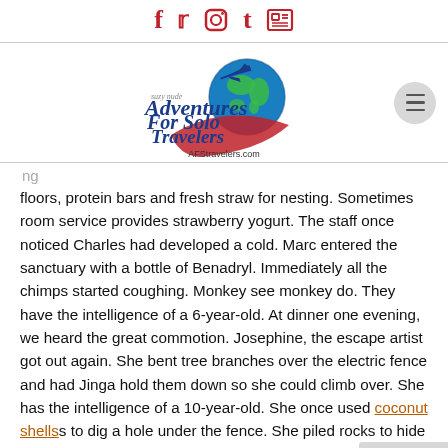Social media icons: Facebook, Twitter, Instagram, Tumblr, Newsletter
[Figure (logo): Adventures For Solo Travelers logo with globe and airplane, AFStravelers.com, by Suzy Nude]
floors, protein bars and fresh straw for nesting. Sometimes room service provides strawberry yogurt. The staff once noticed Charles had developed a cold. Marc entered the sanctuary with a bottle of Benadryl. Immediately all the chimps started coughing. Monkey see monkey do. They have the intelligence of a 6-year-old. At dinner one evening, we heard the great commotion. Josephine, the escape artist got out again. She bent tree branches over the electric fence and had Jinga hold them down so she could climb over. She has the intelligence of a 10-year-old. She once used coconut shells to dig a hole under the fence. She piled rocks to hide the hole